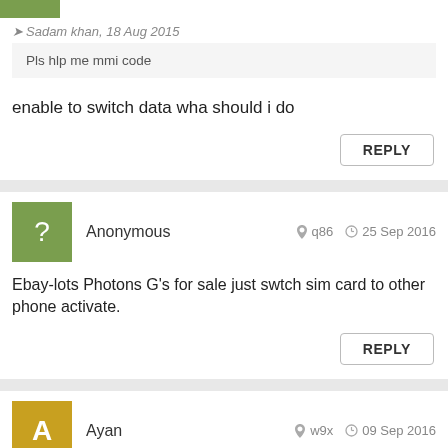[Figure (other): Green avatar rectangle at top]
Sadam khan, 18 Aug 2015
Pls hlp me mmi code
enable to switch data wha should i do
REPLY
Anonymous   q86   25 Sep 2016
Ebay-lots Photons G's for sale just swtch sim card to other phone activate.
REPLY
Ayan   w9x   09 Sep 2016